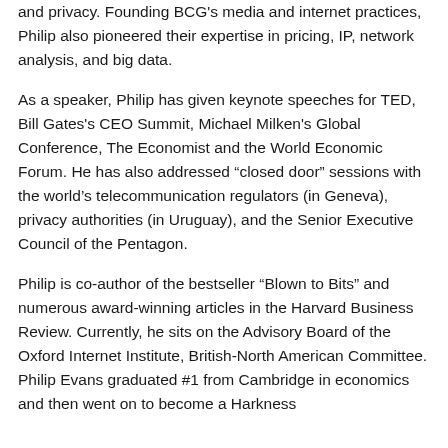and privacy. Founding BCG's media and internet practices, Philip also pioneered their expertise in pricing, IP, network analysis, and big data.
As a speaker, Philip has given keynote speeches for TED, Bill Gates's CEO Summit, Michael Milken's Global Conference, The Economist and the World Economic Forum. He has also addressed “closed door” sessions with the world’s telecommunication regulators (in Geneva), privacy authorities (in Uruguay), and the Senior Executive Council of the Pentagon.
Philip is co-author of the bestseller “Blown to Bits” and numerous award-winning articles in the Harvard Business Review. Currently, he sits on the Advisory Board of the Oxford Internet Institute, British-North American Committee. Philip Evans graduated #1 from Cambridge in economics and then went on to become a Harkness